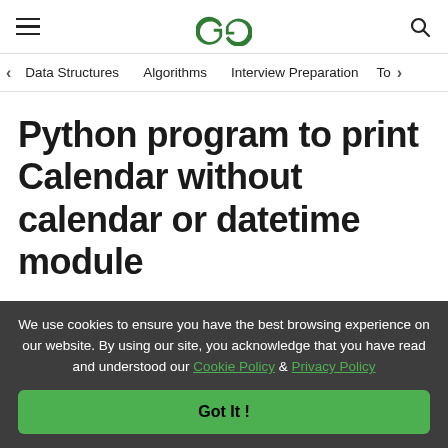GeeksforGeeks header with hamburger menu, logo, and search icon
Data Structures   Algorithms   Interview Preparation   To>
Python program to print Calendar without calendar or datetime module
We use cookies to ensure you have the best browsing experience on our website. By using our site, you acknowledge that you have read and understood our Cookie Policy & Privacy Policy
Got It !